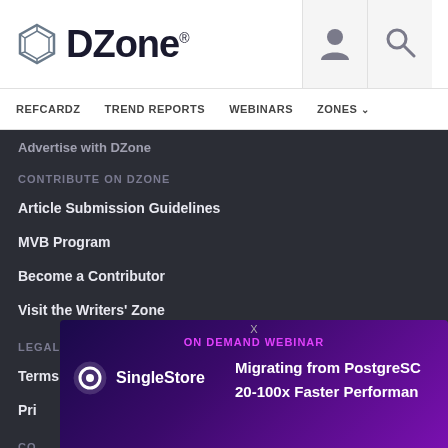DZone
REFCARDZ  TREND REPORTS  WEBINARS  ZONES
Advertise with DZone
CONTRIBUTE ON DZONE
Article Submission Guidelines
MVB Program
Become a Contributor
Visit the Writers' Zone
LEGAL
Terms of Service
Privacy Policy
CONTACT
600
Suite 300
[Figure (screenshot): SingleStore ON DEMAND WEBINAR ad: Migrating from PostgreSQL 20-100x Faster Performance]